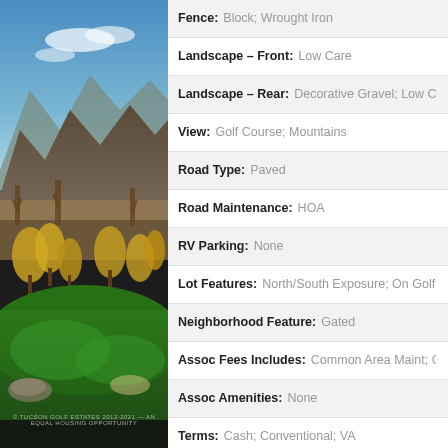[Figure (photo): Golf course landscape with mountains, desert vegetation, green fairways, and blue sky. Dark sidebar photo on left side of page.]
| Field | Value |
| --- | --- |
| Fence: | Block; Wrought Iron |
| Landscape – Front: | Low Care |
| Landscape – Rear: | Decorative Gravel; Low Care; |
| View: | Golf Course; Mountains |
| Road Type: | Paved |
| Road Maintenance: | HOA |
| RV Parking: | None |
| Lot Features: | North/South Exposure; On Golf Cou… |
| Neighborhood Feature: | Gated |
| Assoc Fees Includes: | Common Area Maint; Gated… |
| Assoc Amenities: | None |
| Terms: | Cash; Conventional; VA |
| Submit With Offer: | HOA Addendum; Loan Pre-Qu… |
| Property Disclosures: | Insurance Claims; Lister… |
© TUCSON GOLF ESTATES 2012-2021 — AN EQUAL HOUSING OPPORTUNITY